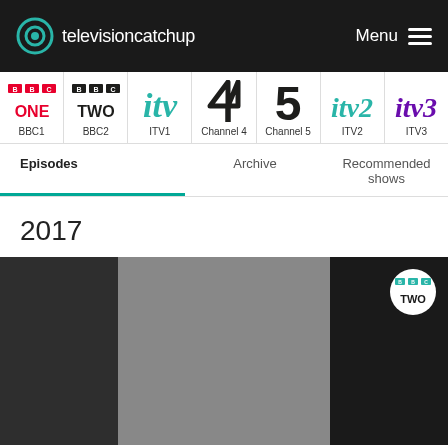televisioncatchup — Menu
[Figure (screenshot): Channel navigation bar showing BBC ONE, BBC TWO, ITV, Channel 4, Channel 5, ITV2, ITV3 logos]
Episodes
Archive
Recommended shows
2017
[Figure (photo): TV show thumbnail image split into dark left panel, grey center panel, and dark right panel with BBC TWO logo badge]
Home  Untouchable